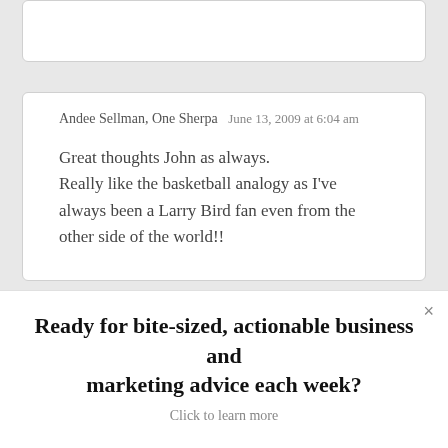(partial card top)
Andee Sellman, One Sherpa
June 13, 2009 at 6:04 am
Great thoughts John as always. Really like the basketball analogy as I've always been a Larry Bird fan even from the other side of the world!!
Andee Sellman, One Sherpa
... am
Ready for bite-sized, actionable business and marketing advice each week?
Click to learn more